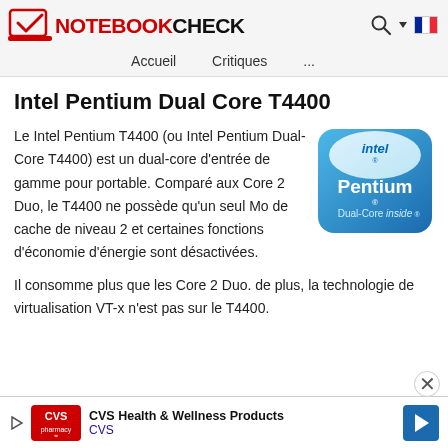NOTEBOOKCHECK  Accueil  Critiques  ...
Intel Pentium Dual Core T4400
Le Intel Pentium T4400 (ou Intel Pentium Dual-Core T4400) est un dual-core d'entrée de gamme pour portable. Comparé aux Core 2 Duo, le T4400 ne possède qu'un seul Mo de cache de niveau 2 et certaines fonctions d'économie d'énergie sont désactivées.
[Figure (logo): Intel Pentium Dual-Core inside badge logo, blue rounded square]
Il consomme plus que les Core 2 Duo. de plus, la technologie de virtualisation VT-x n'est pas sur le T4400.
[Figure (other): CVS Health & Wellness Products advertisement banner with CVS pharmacy logo and navigation arrows]